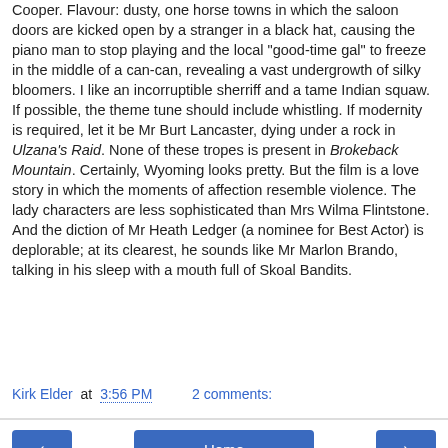Cooper. Flavour: dusty, one horse towns in which the saloon doors are kicked open by a stranger in a black hat, causing the piano man to stop playing and the local "good-time gal" to freeze in the middle of a can-can, revealing a vast undergrowth of silky bloomers. I like an incorruptible sherriff and a tame Indian squaw. If possible, the theme tune should include whistling. If modernity is required, let it be Mr Burt Lancaster, dying under a rock in Ulzana's Raid. None of these tropes is present in Brokeback Mountain. Certainly, Wyoming looks pretty. But the film is a love story in which the moments of affection resemble violence. The lady characters are less sophisticated than Mrs Wilma Flintstone. And the diction of Mr Heath Ledger (a nominee for Best Actor) is deplorable; at its clearest, he sounds like Mr Marlon Brando, talking in his sleep with a mouth full of Skoal Bandits.
Kirk Elder at 3:56 PM   2 comments:
◂  Home  ▸